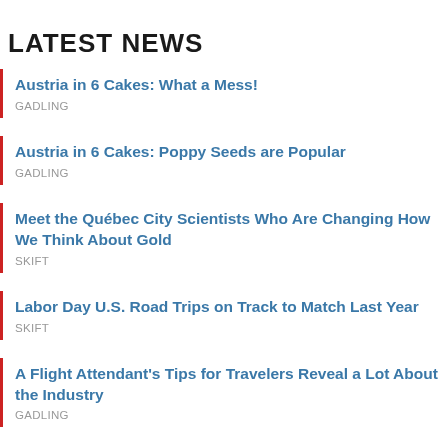LATEST NEWS
Austria in 6 Cakes: What a Mess!
GADLING
Austria in 6 Cakes: Poppy Seeds are Popular
GADLING
Meet the Québec City Scientists Who Are Changing How We Think About Gold
SKIFT
Labor Day U.S. Road Trips on Track to Match Last Year
SKIFT
A Flight Attendant's Tips for Travelers Reveal a Lot About the Industry
GADLING